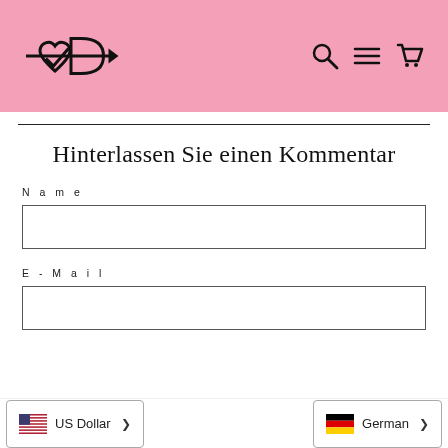[Figure (logo): Brand logo with heart and lightning bolt design on pink background header, with search, menu, and cart icons on the right]
Hinterlassen Sie einen Kommentar
Name
E-Mail
US Dollar
German